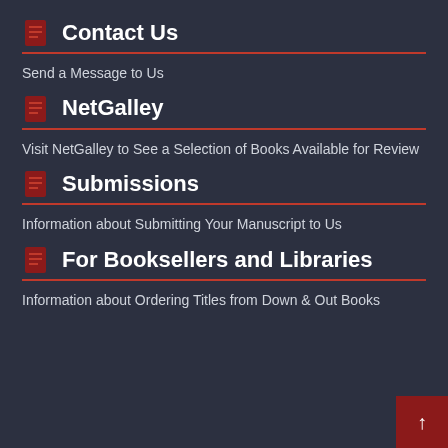Contact Us
Send a Message to Us
NetGalley
Visit NetGalley to See a Selection of Books Available for Review
Submissions
Information about Submitting Your Manuscript to Us
For Booksellers and Libraries
Information about Ordering Titles from Down & Out Books